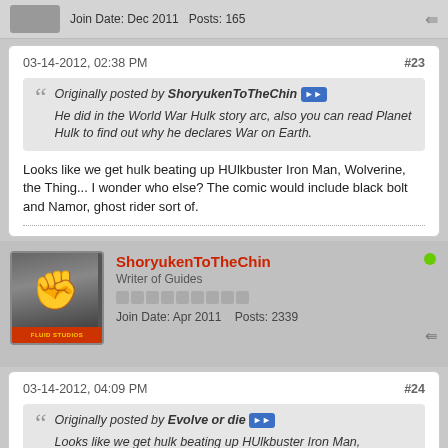Join Date: Dec 2011   Posts: 165
03-14-2012, 02:38 PM
#23
Originally posted by ShoryukenToTheChin
He did in the World War Hulk story arc, also you can read Planet Hulk to find out why he declares War on Earth.
Looks like we get hulk beating up HUlkbuster Iron Man, Wolverine, the Thing... I wonder who else? The comic would include black bolt and Namor, ghost rider sort of.
ShoryukenToTheChin
Writer of Guides
Join Date: Apr 2011   Posts: 2339
03-14-2012, 04:09 PM
#24
Originally posted by Evolve or die
Looks like we get hulk beating up HUlkbuster Iron Man, Wolverine, the Thing... I wonder who else? The comic would include black bolt and Namor, ghost rider sort of.